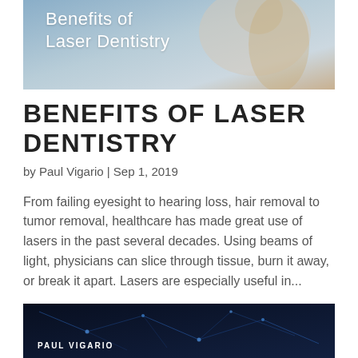[Figure (photo): Cropped header image showing text 'Benefits of Laser Dentistry' overlaid on a blurred photo of a woman in a lab/clinical setting]
BENEFITS OF LASER DENTISTRY
by Paul Vigario | Sep 1, 2019
From failing eyesight to hearing loss, hair removal to tumor removal, healthcare has made great use of lasers in the past several decades. Using beams of light, physicians can slice through tissue, burn it away, or break it apart. Lasers are especially useful in...
[Figure (photo): Dark image with network/neuron-like blue glowing lines, with text 'PAUL VIGARIO' in the lower left]